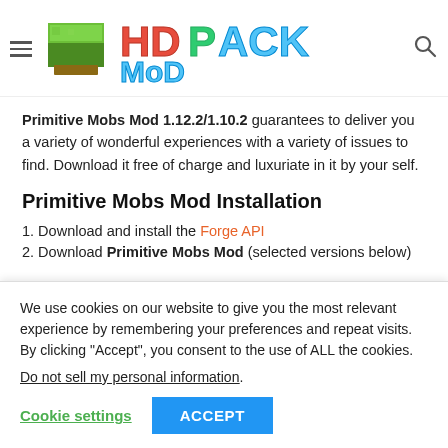HD Pack Mod
Primitive Mobs Mod 1.12.2/1.10.2 guarantees to deliver you a variety of wonderful experiences with a variety of issues to find. Download it free of charge and luxuriate in it by your self.
Primitive Mobs Mod Installation
1. Download and install the Forge API
2. Download Primitive Mobs Mod (selected versions below)
We use cookies on our website to give you the most relevant experience by remembering your preferences and repeat visits. By clicking “Accept”, you consent to the use of ALL the cookies.
Do not sell my personal information.
Cookie settings | ACCEPT